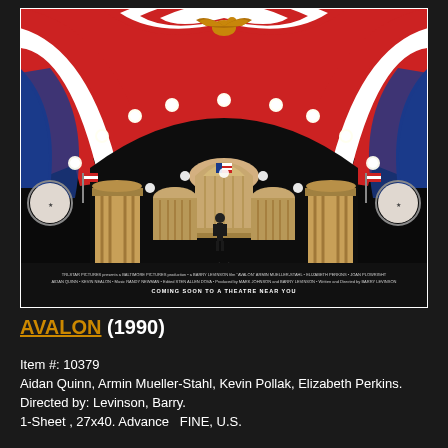[Figure (photo): Movie poster for AVALON (1990). A theatrical stage set with American patriotic decorations — red, white and blue bunting, an arch with globe lights, American flags, white ornamental structures resembling the U.S. Capitol dome, a golden eagle at the top center, and a figure standing at center stage. Text at bottom reads: 'COMING SOON TO A THEATRE NEAR YOU'. Background is dark/night sky.]
AVALON  (1990)
Item #: 10379
Aidan Quinn, Armin Mueller-Stahl, Kevin Pollak, Elizabeth Perkins. Directed by: Levinson, Barry.
1-Sheet , 27x40. Advance  FINE, U.S.